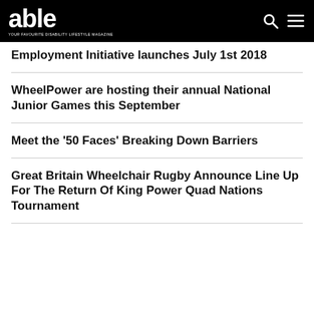able — YOUR FAVOURITE DISABILITY LIFESTYLE MAGAZINE
Employment Initiative launches July 1st 2018
WheelPower are hosting their annual National Junior Games this September
Meet the '50 Faces' Breaking Down Barriers
Great Britain Wheelchair Rugby Announce Line Up For The Return Of King Power Quad Nations Tournament